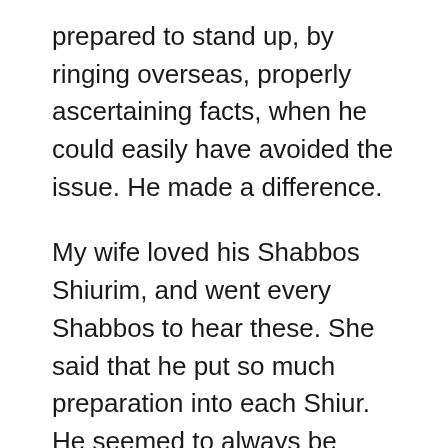prepared to stand up, by ringing overseas, properly ascertaining facts, when he could easily have avoided the issue. He made a difference.
My wife loved his Shabbos Shiurim, and went every Shabbos to hear these. She said that he put so much preparation into each Shiur. He seemed to always be giving Shiurim. He went from minyan to minyan at Mizrachi and gave droshos. He enjoyed good relationships with the